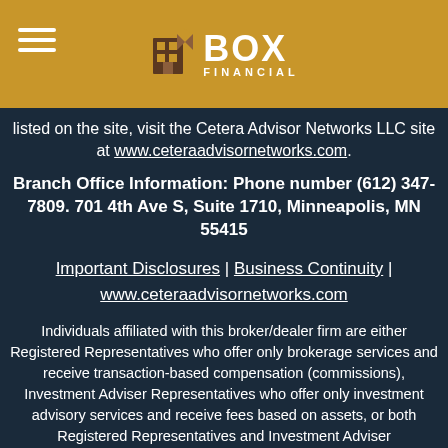[Figure (logo): Box Financial logo with hamburger menu icon on a golden/dark yellow header bar]
listed on the site, visit the Cetera Advisor Networks LLC site at www.ceteraadvisornetworks.com.
Branch Office Information: Phone number (612) 347-7809. 701 4th Ave S, Suite 1710, Minneapolis, MN 55415
Important Disclosures | Business Continuity | www.ceteraadvisornetworks.com
Individuals affiliated with this broker/dealer firm are either Registered Representatives who offer only brokerage services and receive transaction-based compensation (commissions), Investment Adviser Representatives who offer only investment advisory services and receive fees based on assets, or both Registered Representatives and Investment Adviser Representatives, who can offer both types of services.